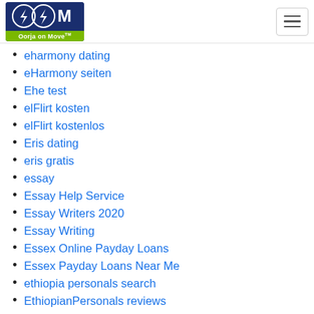Oorja on Move
eharmony dating
eHarmony seiten
Ehe test
elFlirt kosten
elFlirt kostenlos
Eris dating
eris gratis
essay
Essay Help Service
Essay Writers 2020
Essay Writing
Essex Online Payday Loans
Essex Payday Loans Near Me
ethiopia personals search
EthiopianPersonals reviews
eurodate hookup apps